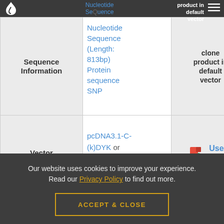Sequence Information | Nucleotide Sequence (Length: 813bp) Protein sequence SNP | clone product in default vector
| Sequence Information | Nucleotide Sequence (Length: 813bp) Protein sequence SNP | clone product in default vector |
| --- | --- | --- |
| Vector | pcDNA3.1-C-(k)DYK or customized vector | User Manual |
| Clone information | Clone Map | MSDS |
Our website uses cookies to improve your experience. Read our Privacy Policy to find out more.
ACCEPT & CLOSE